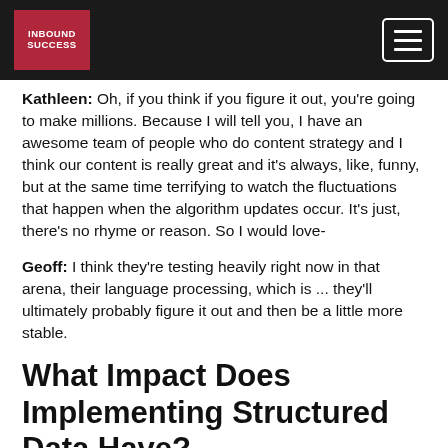INBOUND SUCCESS
Kathleen: Oh, if you think if you figure it out, you're going to make millions. Because I will tell you, I have an awesome team of people who do content strategy and I think our content is really great and it's always, like, funny, but at the same time terrifying to watch the fluctuations that happen when the algorithm updates occur. It's just, there's no rhyme or reason. So I would love-
Geoff: I think they're testing heavily right now in that arena, their language processing, which is ... they'll ultimately probably figure it out and then be a little more stable.
What Impact Does Implementing Structured Data Have?
Kathleen: Yeah. Hopefully the tests come out in our favor. So back to, to markup language, structured data. I think the big question, two questions on everybody's mind when they hear